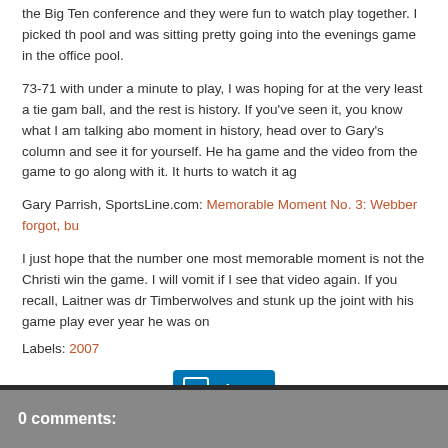the Big Ten conference and they were fun to watch play together. I picked th pool and was sitting pretty going into the evenings game in the office pool.
73-71 with under a minute to play, I was hoping for at the very least a tie gam ball, and the rest is history. If you've seen it, you know what I am talking abo moment in history, head over to Gary's column and see it for yourself. He ha game and the video from the game to go along with it. It hurts to watch it ag
Gary Parrish, SportsLine.com: Memorable Moment No. 3: Webber forgot, bu
I just hope that the number one most memorable moment is not the Christi win the game. I will vomit if I see that video again. If you recall, Laitner was dr Timberwolves and stunk up the joint with his game play ever year he was on
Labels: 2007
[Figure (other): LinkedIn Share button]
0 comments: